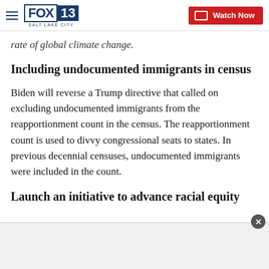FOX 13 SALT LAKE CITY | Watch Now
rate of global climate change.
Including undocumented immigrants in census
Biden will reverse a Trump directive that called on excluding undocumented immigrants from the reapportionment count in the census. The reapportionment count is used to divvy congressional seats to states. In previous decennial censuses, undocumented immigrants were included in the count.
Launch an initiative to advance racial equity